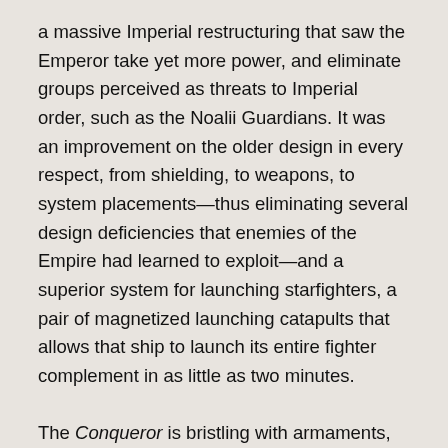a massive Imperial restructuring that saw the Emperor take yet more power, and eliminate groups perceived as threats to Imperial order, such as the Noalii Guardians. It was an improvement on the older design in every respect, from shielding, to weapons, to system placements—thus eliminating several design deficiencies that enemies of the Empire had learned to exploit—and a superior system for launching starfighters, a pair of magnetized launching catapults that allows that ship to launch its entire fighter complement in as little as two minutes.
The Conqueror is bristling with armaments, over its wide but comparatively thin body, arrayed so as to be equally capable of engaging enemy forces head-on, or through broadsides, with equal effectiveness. This was deemed extremely important, as, in part due to its sheer side, and the Imperial emphasis on overwhelming firepower, the Conqueror-class is not particularly maneuverable. Its few blind spots are easily protected by